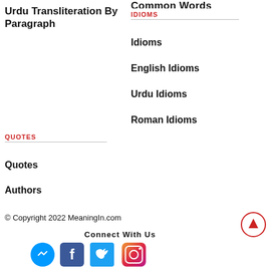Common Words (partial, cropped at top)
Urdu Transliteration By Paragraph
IDIOMS
Idioms
English Idioms
Urdu Idioms
Roman Idioms
QUOTES
Quotes
Authors
© Copyright 2022 MeaningIn.com
Connect With Us